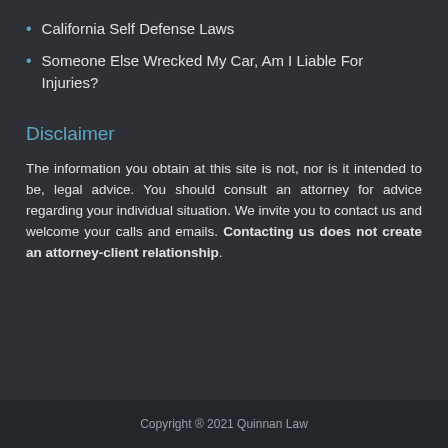California Self Defense Laws
Someone Else Wrecked My Car, Am I Liable For Injuries?
Disclaimer
The information you obtain at this site is not, nor is it intended to be, legal advice. You should consult an attorney for advice regarding your individual situation. We invite you to contact us and welcome your calls and emails. Contacting us does not create an attorney-client relationship.
Copyright ® 2021 Quinnan Law